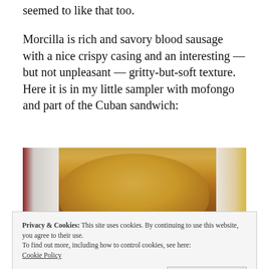seemed to like that too.
Morcilla is rich and savory blood sausage with a nice crispy casing and an interesting — but not unpleasant — gritty-but-soft texture.  Here it is in my little sampler with mofongo and part of the Cuban sandwich:
[Figure (photo): Photo of a Cuban sandwich on a white plate, showing toasted golden-brown bread with filling visible.]
Privacy & Cookies: This site uses cookies. By continuing to use this website, you agree to their use.
To find out more, including how to control cookies, see here:
Cookie Policy
Close and accept